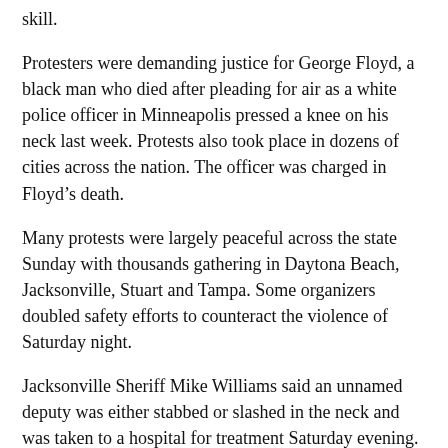skill.
Protesters were demanding justice for George Floyd, a black man who died after pleading for air as a white police officer in Minneapolis pressed a knee on his neck last week. Protests also took place in dozens of cities across the nation. The officer was charged in Floyd’s death.
Many protests were largely peaceful across the state Sunday with thousands gathering in Daytona Beach, Jacksonville, Stuart and Tampa. Some organizers doubled safety efforts to counteract the violence of Saturday night.
Jacksonville Sheriff Mike Williams said an unnamed deputy was either stabbed or slashed in the neck and was taken to a hospital for treatment Saturday evening.
In Tampa, Black Lives Matter organizers had nearly 100 safety marshals in fluorescent vests patrolling their march, trained in de-escalation tactics and ordered to be on the lookout for antagonists. The group also had medics, used